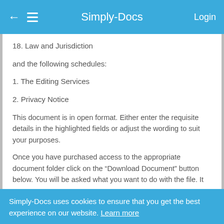Simply-Docs
18. Law and Jurisdiction
and the following schedules:
1. The Editing Services
2. Privacy Notice
This document is in open format. Either enter the requisite details in the highlighted fields or adjust the wording to suit your purposes.
Once you have purchased access to the appropriate document folder click on the “Download Document” button below. You will be asked what you want to do with the file. It
Simply-Docs uses cookies to ensure that you get the best experience on our website. Learn more